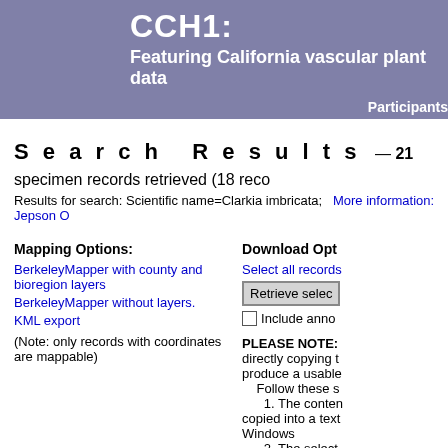CCH1:
Featuring California vascular plant data
Participants
Search Results — 21 specimen records retrieved (18 records with coordinates)
Results for search: Scientific name=Clarkia imbricata;   More information: Jepson Online
Mapping Options:
BerkeleyMapper with county and bioregion layers
BerkeleyMapper without layers.
KML export
(Note: only records with coordinates are mappable)
Download Options:
Select all records
Retrieve selected records
Include annotations
PLEASE NOTE: directly copying t... produce a usable... Follow these s... 1. The content copied into a text... Windows 2. The select document.